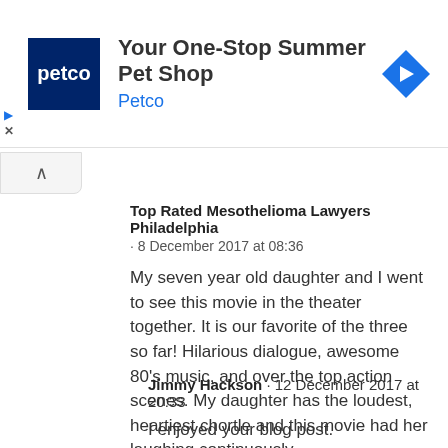[Figure (screenshot): Petco advertisement banner: Petco logo (dark blue square with white 'petco' text), headline 'Your One-Stop Summer Pet Shop', subtext 'Petco' in blue, blue diamond navigation arrow icon. Small play and X controls at left.]
Top Rated Mesothelioma Lawyers Philadelphia
· 8 December 2017 at 08:36
My seven year old daughter and I went to see this movie in the theater together. It is our favorite of the three so far! Hilarious dialogue, awesome 80's music, and over the top action scenes. My daughter has the loudest, heartiest chortle and this movie had her laughing continuously.
REPLY
Jimmy Hackson  · 12 December 2017 at 20:33
I enjoyed your blog post.